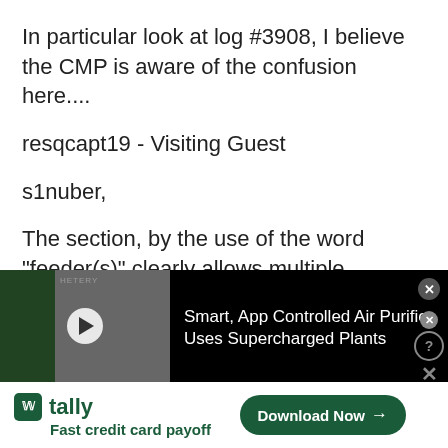In particular look at log #3908, I believe the CMP is aware of the confusion here....
resqcapt19 - Visiting Guest
s1nuber,
The section, by the use of the word "feeder(s)" clearly allows multiple feeders. Multiple feeders
[Figure (screenshot): Video advertisement thumbnail showing a person at what appears to be a trade show with green plant wall, with play button overlay. Ad text reads: Smart, App Controlled Air Purifier Uses Supercharged Plants. Close button in top right.]
[Figure (screenshot): Banner advertisement for Tally app showing logo, tagline 'Fast credit card payoff', and 'Download Now' button with arrow. Question mark and X close buttons on right side.]